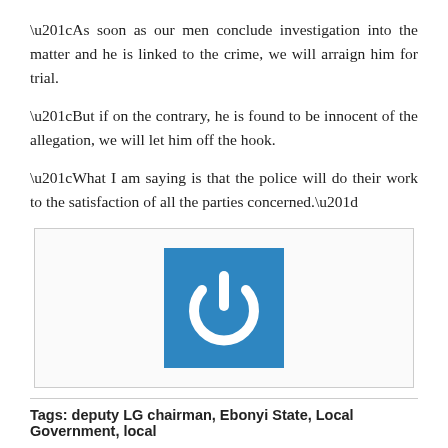“As soon as our men conclude investigation into the matter and he is linked to the crime, we will arraign him for trial.
“But if on the contrary, he is found to be innocent of the allegation, we will let him off the hook.
“What I am saying is that the police will do their work to the satisfaction of all the parties concerned.”
[Figure (logo): Blue square background with white power button icon (circle arc with vertical line on top)]
Tags: deputy LG chairman, Ebonyi State, Local Government, local